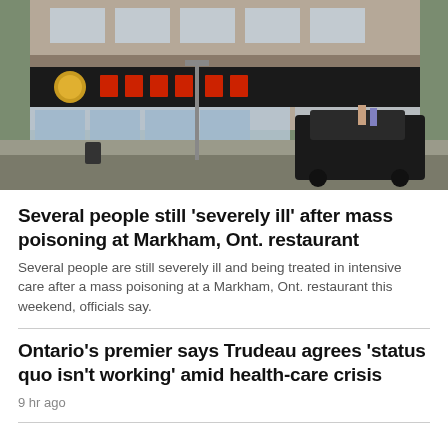[Figure (photo): Aerial view of a restaurant building in Markham, Ontario, showing a storefront with a dark sign containing red and yellow Asian characters, a parking lot with a dark SUV, and sidewalk area.]
Several people still 'severely ill' after mass poisoning at Markham, Ont. restaurant
Several people are still severely ill and being treated in intensive care after a mass poisoning at a Markham, Ont. restaurant this weekend, officials say.
Ontario's premier says Trudeau agrees 'status quo isn't working' amid health-care crisis
9 hr ago